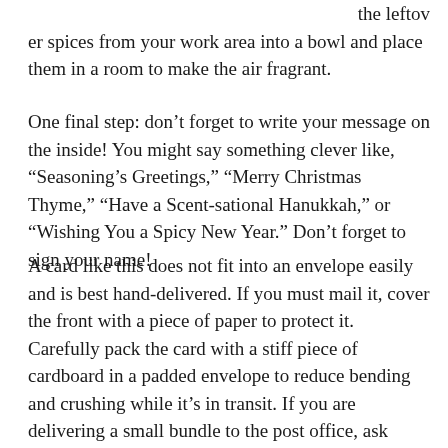the leftover spices from your work area into a bowl and place them in a room to make the air fragrant.
One final step: don't forget to write your message on the inside! You might say something clever like, “Seasoning’s Greetings,” “Merry Christmas Thyme,” “Have a Scent-sational Hanukkah,” or “Wishing You a Spicy New Year.” Don’t forget to sign your name!
A card like this does not fit into an envelope easily and is best hand-delivered. If you must mail it, cover the front with a piece of paper to protect it. Carefully pack the card with a stiff piece of cardboard in a padded envelope to reduce bending and crushing while it’s in transit. If you are delivering a small bundle to the post office, ask them to hand-cancel your cards (they’ll appreciate the tip).